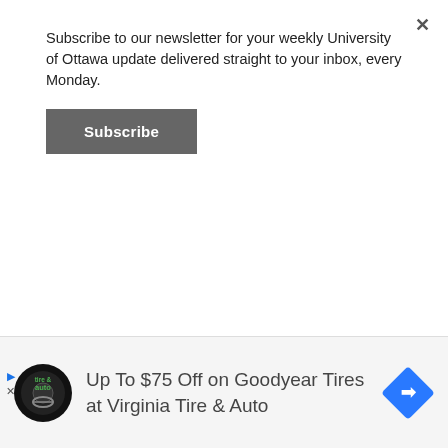Subscribe to our newsletter for your weekly University of Ottawa update delivered straight to your inbox, every Monday.
Subscribe
OPINIONS
EDITORIALS
LES
[Figure (other): Advertisement banner: Virginia Tire & Auto logo (circular black badge with tire icon), text 'Up To $75 Off on Goodyear Tires at Virginia Tire & Auto', blue diamond-shaped navigation arrow icon on right. Small play and X icons on bottom-left.]